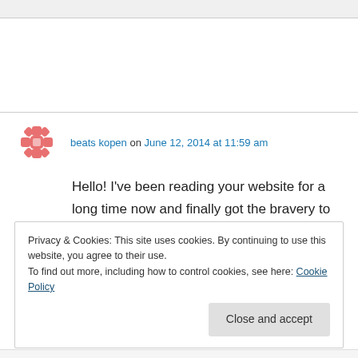beats kopen on June 12, 2014 at 11:59 am
Hello! I've been reading your website for a long time now and finally got the bravery to go ahead and give you a shout out from Humble Texas!
Privacy & Cookies: This site uses cookies. By continuing to use this website, you agree to their use.
To find out more, including how to control cookies, see here: Cookie Policy
Close and accept